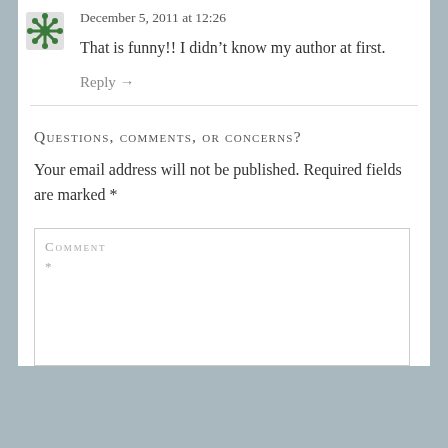December 5, 2011 at 12:26
That is funny!! I didn’t know my author at first.
Reply →
Questions, comments, or concerns?
Your email address will not be published. Required fields are marked *
COMMENT
*